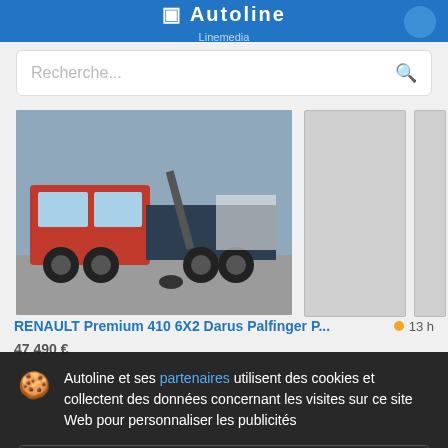Autoline Linemedia
Recherche...
[Figure (photo): Red Renault Premium truck with hook-lift system parked in a lot, side/front view]
RENAULT Premium 410 6X2 Darus Palfinger P... 13 h
47 490 €
Autoline et ses partenaires utilisent des cookies et collectent des données concernant les visites sur ce site Web pour personnaliser les publicités
Détails
Accepter et fermer